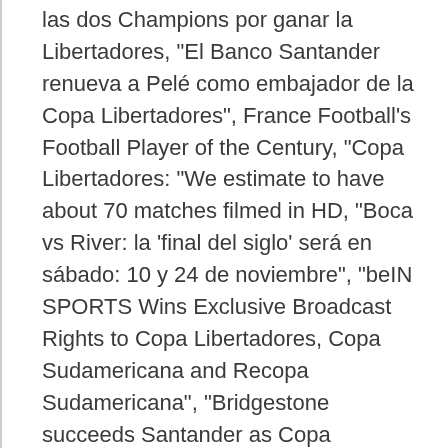las dos Champions por ganar la Libertadores", "El Banco Santander renueva a Pelé como embajador de la Copa Libertadores", France Football's Football Player of the Century, "Copa Libertadores: "We estimate to have about 70 matches filmed in HD, "Boca vs River: la 'final del siglo' será en sábado: 10 y 24 de noviembre", "beIN SPORTS Wins Exclusive Broadcast Rights to Copa Libertadores, Copa Sudamericana and Recopa Sudamericana", "Bridgestone succeeds Santander as Copa Libertadores title sponsor", "Bridgestone and Conmebol announce five-year sponsorship of Copa Libertadores", "Nike presentó la nueva pelota para el Torneo", "The Nike "Ordem" is the official ball of the 2014 Copa Bridgestone", Copa Libertadores at Fox Sports en Español, Copa Libertadores at southamericanfutbol.com, J.League Cup / Copa Sudamericana Championship,